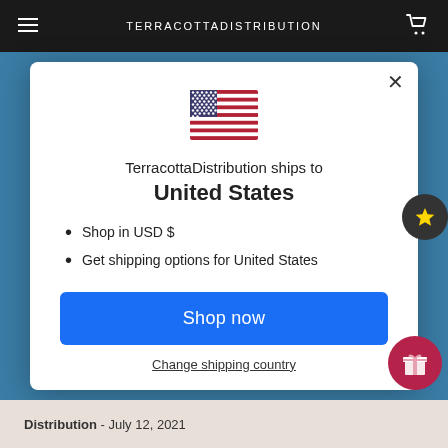TERRACOTTADISTRIBUTION
[Figure (illustration): US flag SVG illustration]
TerracottaDistribution ships to United States
Shop in USD $
Get shipping options for United States
Shop now
Change shipping country
Distribution - July 12, 2021